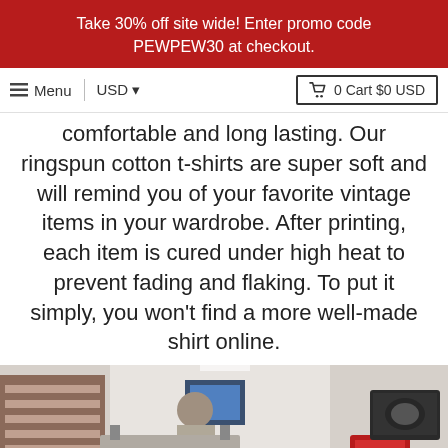Take 30% off site wide! Enter promo code PEWPEW30 at checkout.
Menu   USD   0 Cart $0 USD
comfortable and long lasting. Our ringspun cotton t-shirts are super soft and will remind you of your favorite vintage items in your wardrobe. After printing, each item is cured under high heat to prevent fading and flaking. To put it simply, you won't find a more well-made shirt online.
[Figure (photo): A worker in a screen printing factory with printing machines and equipment visible in the foreground and background, monitors showing designs on screens.]